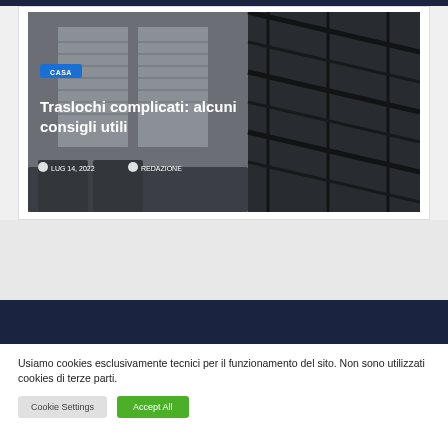[Figure (photo): Interior photo showing a living room with windows and a dark metal staircase on the right side. Text overlays include a blue 'CASA' category badge, large white bold title 'Traslochi complicati: alcuni consigli utili', and metadata showing 'LUG 14, 2022' and 'REDAZIONE'.]
Traslochi complicati: alcuni consigli utili
LUG 14, 2022  REDAZIONE
Usiamo cookies esclusivamente tecnici per il funzionamento del sito. Non sono utilizzati cookies di terze parti.